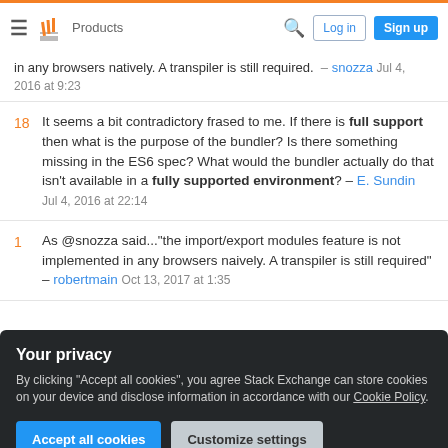Stack Overflow — Products | Log in | Sign up
in any browsers natively. A transpiler is still required. – snozza Jul 4, 2016 at 9:23
18 — It seems a bit contradictory frased to me. If there is full support then what is the purpose of the bundler? Is there something missing in the ES6 spec? What would the bundler actually do that isn't available in a fully supported environment? – E. Sundin Jul 4, 2016 at 22:14
1 — As @snozza said..."the import/export modules feature is not implemented in any browsers naively. A transpiler is still required" – robertmain Oct 13, 2017 at 1:35
Your privacy
By clicking "Accept all cookies", you agree Stack Exchange can store cookies on your device and disclose information in accordance with our Cookie Policy.
Accept all cookies | Customize settings
natively. – Dan Dascalescu Sep 26, 2018 at 3:33